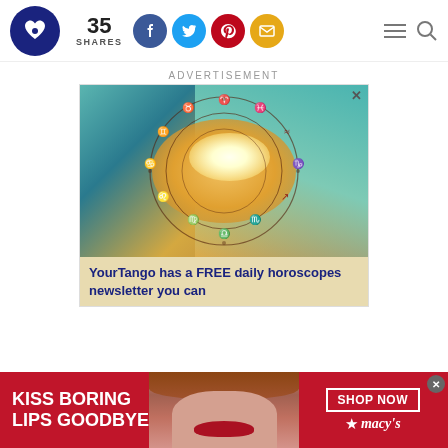35 SHARES — social share icons (Facebook, Twitter, Pinterest, Email) — hamburger menu and search
ADVERTISEMENT
[Figure (photo): Advertisement image showing two hands forming a heart shape with a zodiac wheel overlay on an orange/teal background, with text: YourTango has a FREE daily horoscopes newsletter you can]
[Figure (photo): Bottom banner advertisement: red background with white text KISS BORING LIPS GOODBYE, woman's face with red lips, SHOP NOW button, and macy's star logo]